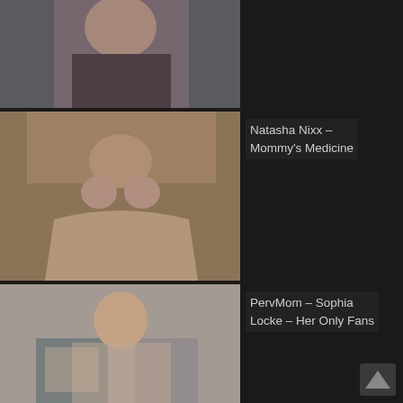[Figure (photo): Thumbnail image of a dark-haired woman, partially cropped at top]
[Figure (photo): Thumbnail image labeled Natasha Nixx - Mommy's Medicine]
Natasha Nixx – Mommy's Medicine
[Figure (photo): Thumbnail image labeled PervMom – Sophia Locke – Her Only Fans]
PervMom – Sophia Locke – Her Only Fans